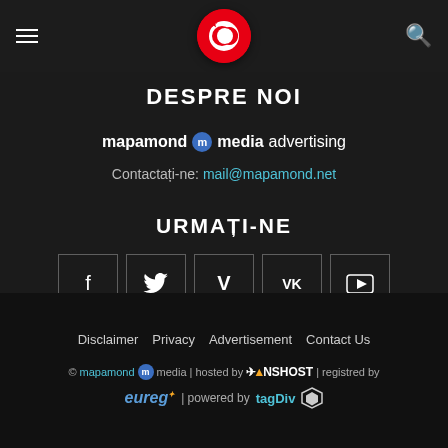DESPRE NOI — mapamond media advertising
DESPRE NOI
mapamond [m] media advertising
Contactați-ne: mail@mapamond.net
URMAȚI-NE
[Figure (infographic): Social media icon buttons: Facebook (f), Twitter (bird), Vimeo (V), VK (VK), YouTube (play button)]
Disclaimer | Privacy | Advertisement | Contact Us
© mapamond [m] media | hosted by NSHOST | registred by eureg | powered by tagDiv